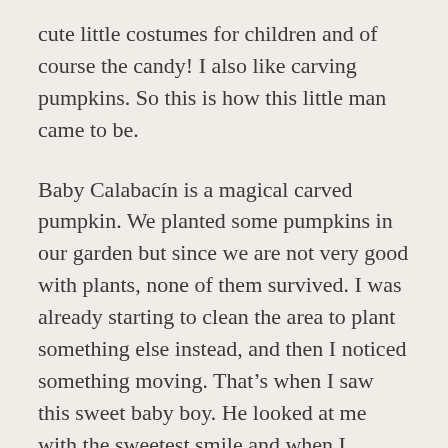cute little costumes for children and of course the candy! I also like carving pumpkins. So this is how this little man came to be.
Baby Calabacín is a magical carved pumpkin. We planted some pumpkins in our garden but since we are not very good with plants, none of them survived. I was already starting to clean the area to plant something else instead, and then I noticed something moving. That's when I saw this sweet baby boy. He looked at me with the sweetest smile and when I opened my hand he hugged it so tight with his little vine arms. I fell in love immediately. Calabacín is always happy, always curious, always loving, always excited. His favorite holiday is Halloween and he wants to be a Jack-O-Lantern when he grows up but I'm not